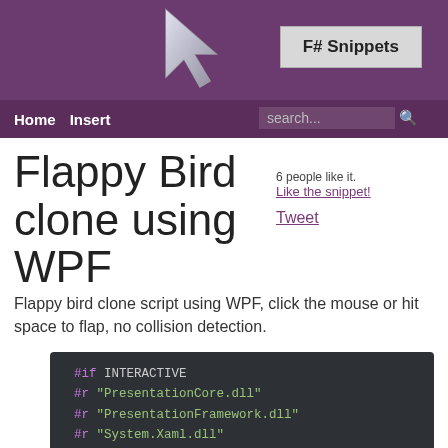F# Snippets
Home  Insert  search...
Flappy Bird clone using WPF
6 people like it. Like the snippet! Tweet
Flappy bird clone script using WPF, click the mouse or hit space to flap, no collision detection.
#if INTERACTIVE
#r "PresentationCore.dll"
#r "PresentationFramework.dll"
#r "System.Xaml.dll"
#r "UIAutomationTypes.dll"
#r "WindowsBase.dll"
#endif